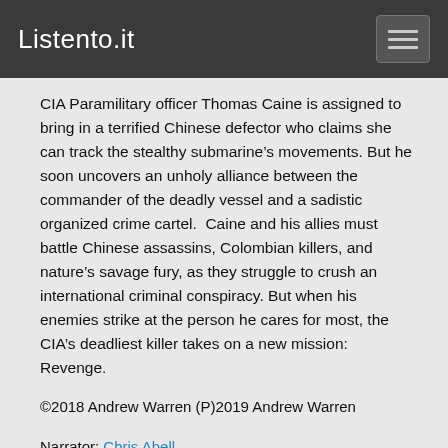Listento.it
CIA Paramilitary officer Thomas Caine is assigned to bring in a terrified Chinese defector who claims she can track the stealthy submarine’s movements. But he soon uncovers an unholy alliance between the commander of the deadly vessel and a sadistic organized crime cartel.  Caine and his allies must battle Chinese assassins, Colombian killers, and nature’s savage fury, as they struggle to crush an international criminal conspiracy. But when his enemies strike at the person he cares for most, the CIA’s deadliest killer takes on a new mission: Revenge.
©2018 Andrew Warren (P)2019 Andrew Warren
Narrator: Chris Abell
Author: Andrew Warren, Aiden L. Bailey
Category: Mystery, Thriller & Suspense
Length: 5 hrs and 22 mins